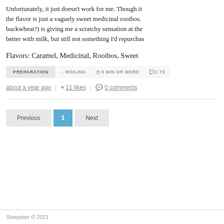Unfortunately, it just doesn't work for me. Though it the flavor is just a vaguely sweet medicinal rooibos. buckwheat?) is giving me a scratchy sensation at the better with milk, but still not something I'd repurchas
Flavors: Caramel, Medicinal, Rooibos, Sweet
PREPARATION  ↓ BOILING  ⏱ 8 MIN OR MORE  🗨 1 TSP
about a year ago  |  ♥ 11 likes  |  🗨 0 comments
Previous  1  Next
Steepster © 2021